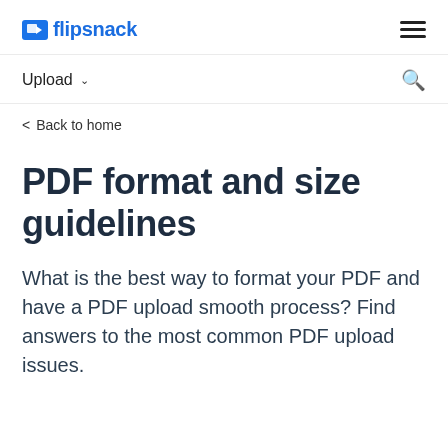flipsnack
Upload
Back to home
PDF format and size guidelines
What is the best way to format your PDF and have a PDF upload smooth process? Find answers to the most common PDF upload issues.